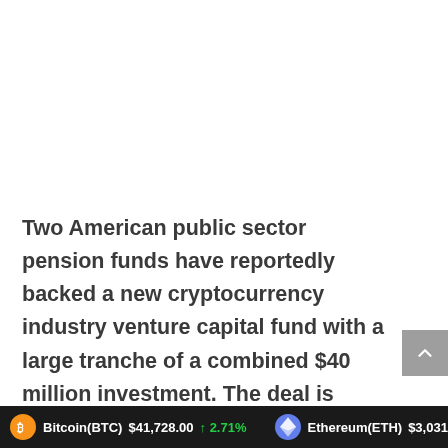Two American public sector pension funds have reportedly backed a new cryptocurrency industry venture capital fund with a large tranche of a combined $40 million investment. The deal is being hailed as a show of confidence in the field from some of the most conservative types of investment managers.
Bitcoin(BTC) $41,728.00 ↑ 2.71%   Ethereum(ETH) $3,031.32